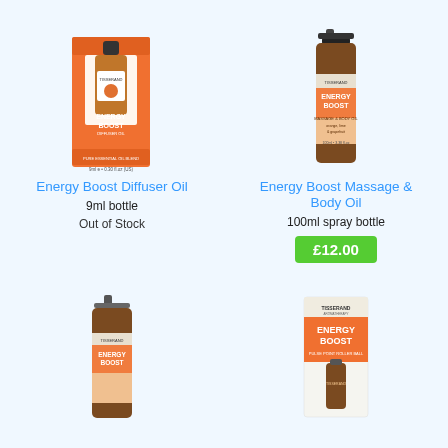[Figure (photo): Tisserand Energy Boost Diffuser Oil product box with small bottle, orange packaging]
[Figure (photo): Tisserand Energy Boost Massage & Body Oil brown spray bottle, orange label]
Energy Boost Diffuser Oil
9ml bottle
Out of Stock
Energy Boost Massage & Body Oil
100ml spray bottle
£12.00
[Figure (photo): Tisserand small brown spray bottle, partial view from bottom]
[Figure (photo): Tisserand Energy Boost Pulse Point Roller Ball, white box with orange label]